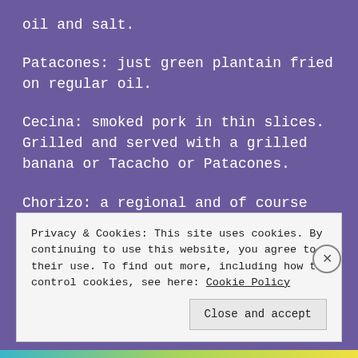oil and salt.
Patacones: just green plantain fried on regular oil.
Cecina: smoked pork in thin slices. Grilled and served with a grilled banana or Tacacho or Patacones.
Chorizo: a regional and of course very greasy local pork chorizo, made with
Privacy & Cookies: This site uses cookies. By continuing to use this website, you agree to their use. To find out more, including how to control cookies, see here: Cookie Policy
Close and accept